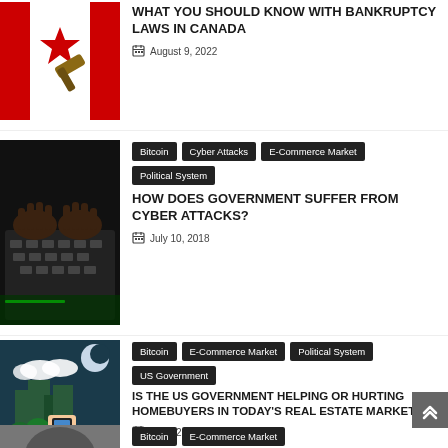[Figure (photo): Canadian flag with gavel on it]
WHAT YOU SHOULD KNOW WITH BANKRUPTCY LAWS IN CANADA
August 9, 2022
Bitcoin
Cyber Attacks
E-Commerce Market
Political System
[Figure (photo): Hands typing on a laptop keyboard in dark setting]
HOW DOES GOVERNMENT SUFFER FROM CYBER ATTACKS?
July 10, 2018
Bitcoin
E-Commerce Market
Political System
US Government
[Figure (photo): Hand holding a phone with city buildings and moon in background]
IS THE US GOVERNMENT HELPING OR HURTING HOMEBUYERS IN TODAY'S REAL ESTATE MARKET?
July 22, 2018
Bitcoin
E-Commerce Market
[Figure (photo): Partial photo of a person (face partially visible)]